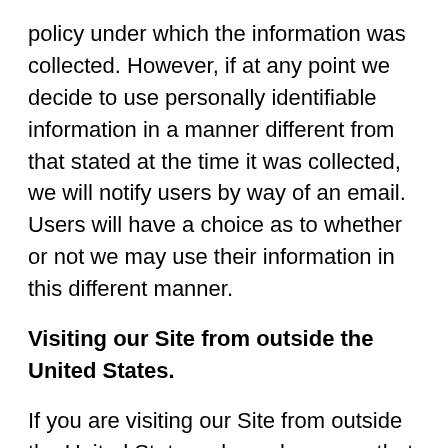policy under which the information was collected. However, if at any point we decide to use personally identifiable information in a manner different from that stated at the time it was collected, we will notify users by way of an email. Users will have a choice as to whether or not we may use their information in this different manner.
Visiting our Site from outside the United States.
If you are visiting our Site from outside the United States, please be aware that your information may be transferred to, stored, and processed in the United States where our servers are located and our central database is operated. The data protection and other laws of the United States and other countries might not be as comprehensive as those in your country, but please be assured that CPH Asphalt Pro, LLC takes steps pursuant to laws in the United